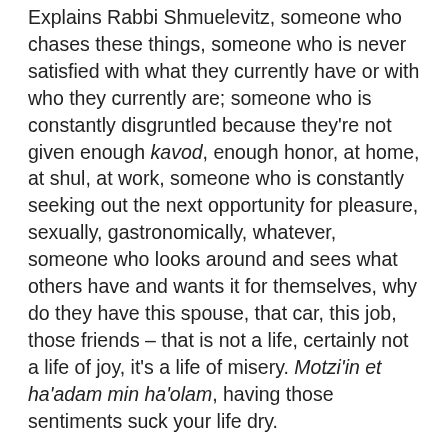Explains Rabbi Shmuelevitz, someone who chases these things, someone who is never satisfied with what they currently have or with who they currently are; someone who is constantly disgruntled because they're not given enough kavod, enough honor, at home, at shul, at work, someone who is constantly seeking out the next opportunity for pleasure, sexually, gastronomically, whatever, someone who looks around and sees what others have and wants it for themselves, why do they have this spouse, that car, this job, those friends – that is not a life, certainly not a life of joy, it's a life of misery. Motzi'in et ha'adam min ha'olam, having those sentiments suck your life dry.
Ask any teenager what their biggest fear is, and they'll tell you it's something they call FOMO – the Fear Of Missing Out. They're afraid to commit to hang out with this friend because in doing so they miss out on hanging